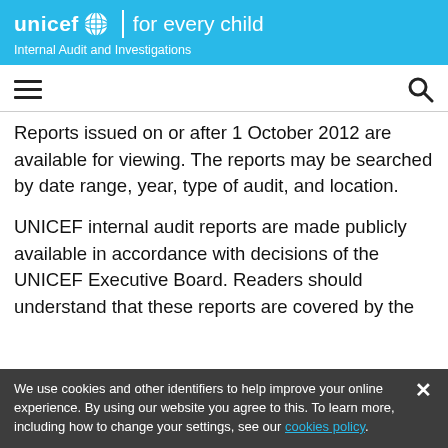unicef for every child | Internal Audit and Investigations
Reports issued on or after 1 October 2012 are available for viewing. The reports may be searched by date range, year, type of audit, and location.
UNICEF internal audit reports are made publicly available in accordance with decisions of the UNICEF Executive Board. Readers should understand that these reports are covered by the
We use cookies and other identifiers to help improve your online experience. By using our website you agree to this. To learn more, including how to change your settings, see our cookies policy.